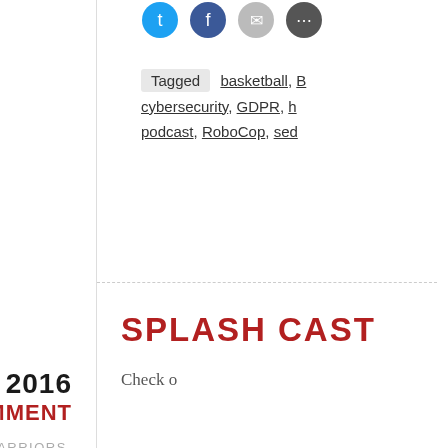Tagged  basketball, cybersecurity, GDPR, podcast, RoboCop, sed
JUN 29 2016
LEAVE A COMMENT
GOLDEN STATE WARRIORS, NBA FINALS, SPORTS
SPLASH CAST
Check o